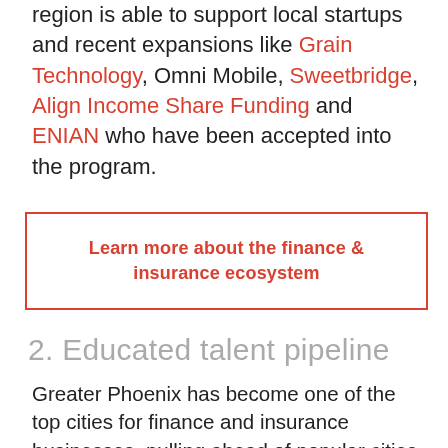region is able to support local startups and recent expansions like Grain Technology, Omni Mobile, Sweetbridge, Align Income Share Funding and ENIAN who have been accepted into the program.
Learn more about the finance & insurance ecosystem
2. Educated talent pipeline
Greater Phoenix has become one of the top cities for finance and insurance businesses, pulling ahead of popular cities like Dallas, Salt Lake City and Charlotte in total degree completions for finance and insurance-related programs. Many recent locates in these industries hired from our region's quality workforce